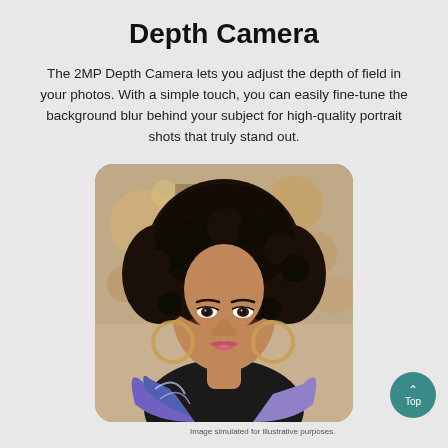Depth Camera
The 2MP Depth Camera lets you adjust the depth of field in your photos. With a simple touch, you can easily fine-tune the background blur behind your subject for high-quality portrait shots that truly stand out.
[Figure (photo): Portrait photo of a young Black woman with voluminous curly black hair, wearing large hoop earrings, a black top, and a colorful jacket. The background is blurred with warm bokeh lights, demonstrating depth-of-field effect.]
Image simulated for illustrative purposes.